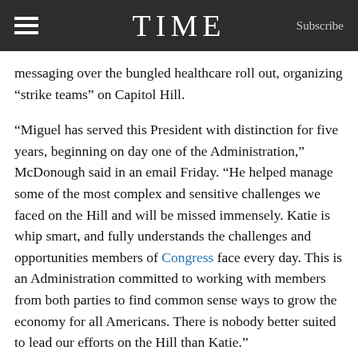TIME  Subscribe
messaging over the bungled healthcare roll out, organizing “strike teams” on Capitol Hill.
“Miguel has served this President with distinction for five years, beginning on day one of the Administration,” McDonough said in an email Friday. “He helped manage some of the most complex and sensitive challenges we faced on the Hill and will be missed immensely. Katie is whip smart, and fully understands the challenges and opportunities members of Congress face every day. This is an Administration committed to working with members from both parties to find common sense ways to grow the economy for all Americans. There is nobody better suited to lead our efforts on the Hill than Katie.”
In a statement, Obama thanked Rodriguez for his service and praised Fallon’s “deep expertise and strong relationships” on the